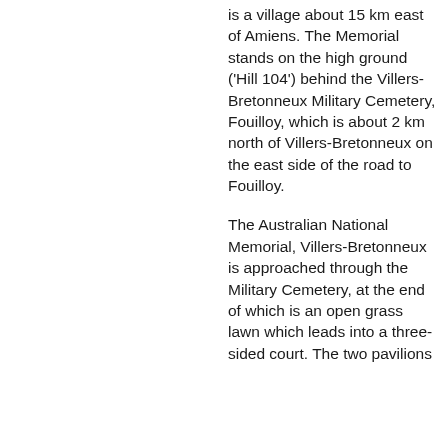is a village about 15 km east of Amiens. The Memorial stands on the high ground ('Hill 104') behind the Villers-Bretonneux Military Cemetery, Fouilloy, which is about 2 km north of Villers-Bretonneux on the east side of the road to Fouilloy.
The Australian National Memorial, Villers-Bretonneux is approached through the Military Cemetery, at the end of which is an open grass lawn which leads into a three-sided court. The two pavilions